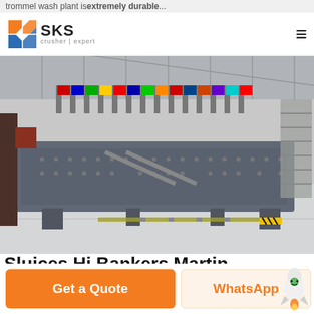trommel wash plant is extremely durable...
[Figure (logo): SKS crusher expert logo with geometric diamond/arrow shapes in orange and blue]
[Figure (photo): Industrial vibrating screen or sluice machine displayed on a factory floor with colorful flags in the background]
Sluices Hi Bankers Martin
Get a Quote
WhatsApp